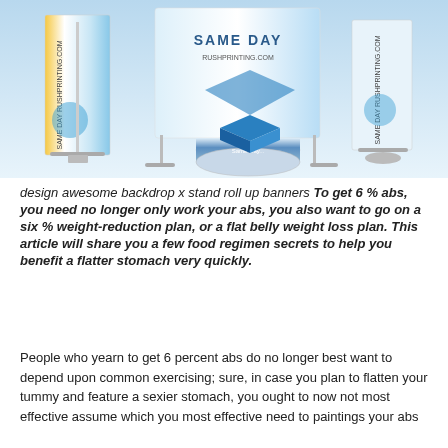[Figure (photo): Product display showing roll-up banner stands and a round table display with 'Same Day RushPrinting.com' branding on them, set against a light blue background.]
design awesome backdrop x stand roll up banners To get 6 % abs, you need no longer only work your abs, you also want to go on a six % weight-reduction plan, or a flat belly weight loss plan. This article will share you a few food regimen secrets to help you benefit a flatter stomach very quickly.
People who yearn to get 6 percent abs do no longer best want to depend upon common exercising; sure, in case you plan to flatten your tummy and feature a sexier stomach, you ought to now not most effective assume which you most effective need to paintings your abs